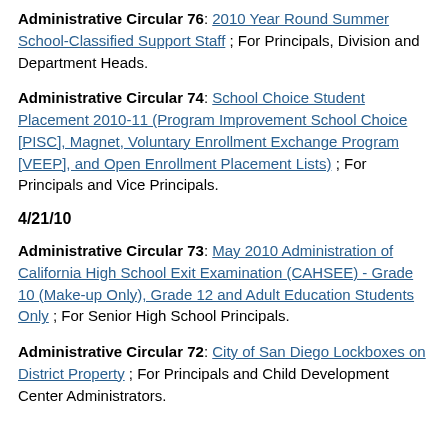Administrative Circular 76: 2010 Year Round Summer School-Classified Support Staff ; For Principals, Division and Department Heads.
Administrative Circular 74: School Choice Student Placement 2010-11 (Program Improvement School Choice [PISC], Magnet, Voluntary Enrollment Exchange Program [VEEP], and Open Enrollment Placement Lists) ; For Principals and Vice Principals.
4/21/10
Administrative Circular 73: May 2010 Administration of California High School Exit Examination (CAHSEE) - Grade 10 (Make-up Only), Grade 12 and Adult Education Students Only ; For Senior High School Principals.
Administrative Circular 72: City of San Diego Lockboxes on District Property ; For Principals and Child Development Center Administrators.